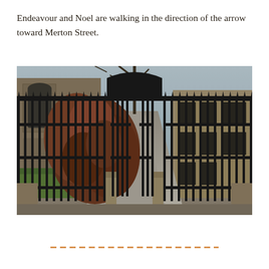Endeavour and Noel are walking in the direction of the arrow toward Merton Street.
[Figure (photo): Black ornate iron gate open onto a stone path flanked by a Gothic stone building on the right and green lawn with bare trees and reddish-brown shrubs on the left, viewed through the elaborate wrought-iron gate with decorative scrollwork arch.]
— — — — — — — — — — — — — — — — —